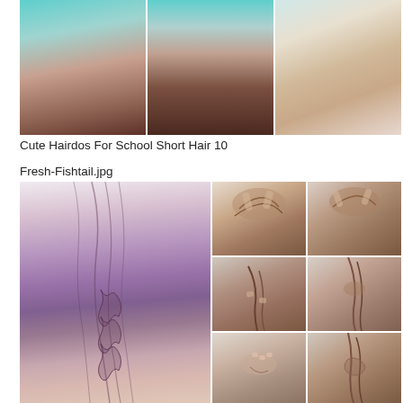[Figure (photo): Three hairstyle photos on teal/mint background showing cute hairdos for school short hair]
Cute Hairdos For School Short Hair 10
Fresh-Fishtail.jpg
[Figure (photo): Fishtail braid tutorial collage showing a woman with purple-tinted hair in a fishtail braid (main large image on left) and step-by-step tutorial grid on the right showing how to create the fishtail braid]